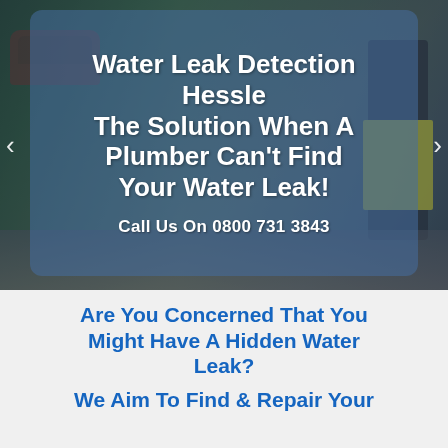[Figure (screenshot): Hero banner image of workers performing water leak detection on a street, with a red car visible and workers in yellow hi-vis gear. A semi-transparent blue overlay card contains the title and phone number text.]
Water Leak Detection Hessle The Solution When A Plumber Can't Find Your Water Leak!
Call Us On 0800 731 3843
Are You Concerned That You Might Have A Hidden Water Leak?
We Aim To Find & Repair Your